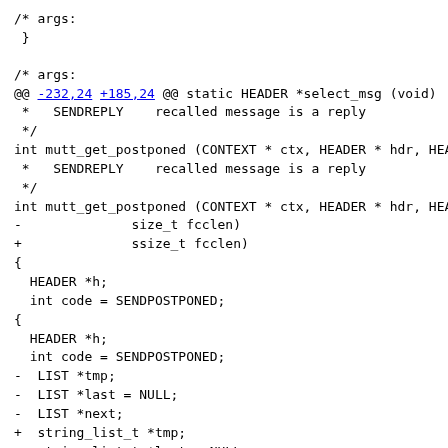/* args:
 }
/* args:
@@ -232,24 +185,24 @@ static HEADER *select_msg (void)
 *   SENDREPLY    recalled message is a reply
 */
int mutt_get_postponed (CONTEXT * ctx, HEADER * hdr, HEADE
 *   SENDREPLY    recalled message is a reply
 */
int mutt_get_postponed (CONTEXT * ctx, HEADER * hdr, HEADI
-              size_t fcclen)
+              ssize_t fcclen)
{
  HEADER *h;
  int code = SENDPOSTPONED;
{
  HEADER *h;
  int code = SENDPOSTPONED;
-  LIST *tmp;
-  LIST *last = NULL;
-  LIST *next;
+  string_list_t *tmp;
+  string_list_t *last = NULL;